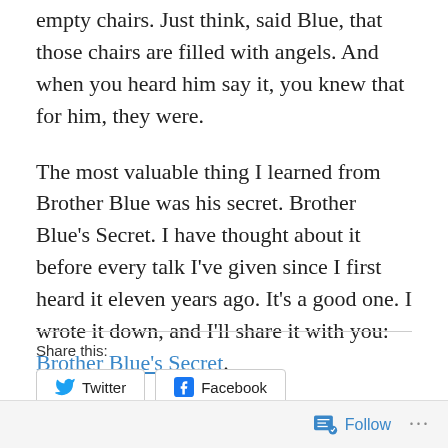empty chairs. Just think, said Blue, that those chairs are filled with angels. And when you heard him say it, you knew that for him, they were.
The most valuable thing I learned from Brother Blue was his secret. Brother Blue's Secret. I have thought about it before every talk I've given since I first heard it eleven years ago. It's a good one. I wrote it down, and I'll share it with you: Brother Blue's Secret.
Share this:
Twitter   Facebook
Follow